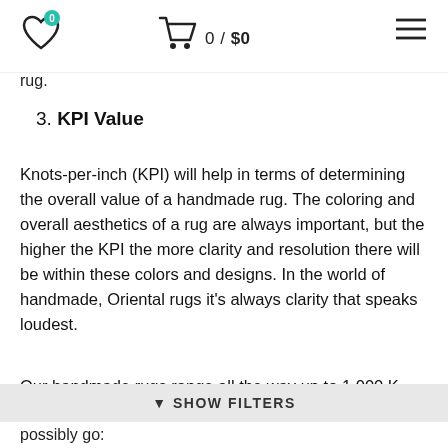0 / $0
rug.
3. KPI Value
Knots-per-inch (KPI) will help in terms of determining the overall value of a handmade rug. The coloring and overall aesthetics of a rug are always important, but the higher the KPI the more clarity and resolution there will be within these colors and designs. In the world of handmade, Oriental rugs it’s always clarity that speaks loudest.
Our handmade rugs range all the way up to 1,000 KP
▼ SHOW FILTERS
possibly go: